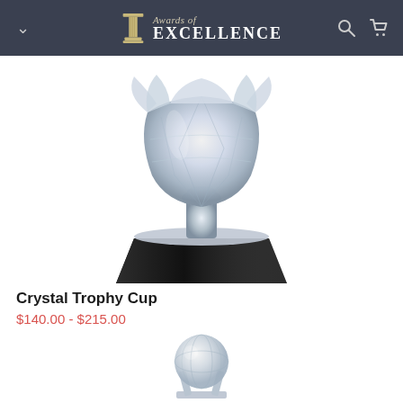Awards of EXCELLENCE
[Figure (photo): Crystal Trophy Cup with ornate crystal cup on a black square base]
Crystal Trophy Cup
$140.00 - $215.00
[Figure (photo): Crystal golf ball award on a crystal stand]